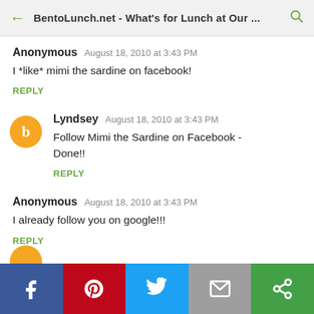BentoLunch.net - What's for Lunch at Our ...
Anonymous   August 18, 2010 at 3:43 PM
I *like* mimi the sardine on facebook!
REPLY
Lyndsey   August 18, 2010 at 3:43 PM
Follow Mimi the Sardine on Facebook - Done!!
REPLY
Anonymous   August 18, 2010 at 3:43 PM
I already follow you on google!!!
REPLY